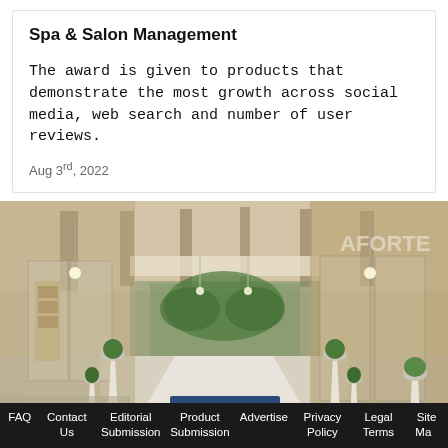Spa & Salon Management
The award is given to products that demonstrate the most growth across social media, web search and number of user reviews.
Aug 3rd, 2022
[Figure (photo): Interior entrance of a spa/salon with high vaulted ceiling, glass doors, white cone-shaped planters with greenery, and a reception area in the background. Text 'ACQUAFORTE' visible on the right side.]
FAQ  Contact Us  Editorial Submission  Product Submission  Advertise  Privacy Policy  Legal Terms  Site Map